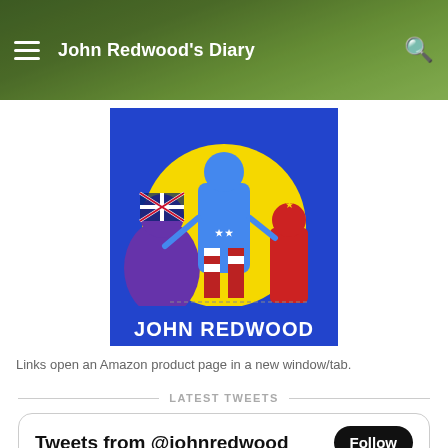John Redwood's Diary
[Figure (illustration): Comic-style book cover illustration showing superhero figures with flags (UK, USA, China), bold yellow circle background, text 'JOHN REDWOOD' at bottom in stylized lettering]
Links open an Amazon product page in a new window/tab.
LATEST TWEETS
Tweets from @johnredwood   Follow